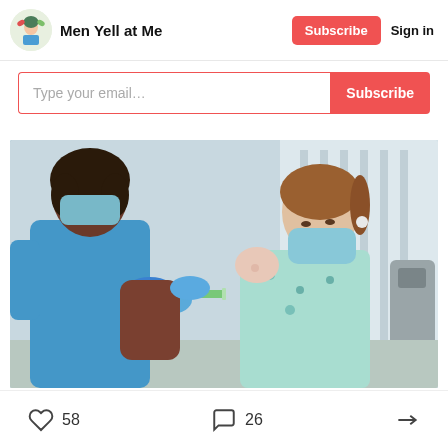Men Yell at Me — Subscribe | Sign in
Type your email... Subscribe
[Figure (photo): A Black female healthcare worker in blue scrubs and blue gloves, wearing a surgical mask, administers a vaccine injection into the arm of a young girl with light brown hair in a ponytail, who is wearing a teal floral dress and a light blue face mask. The setting is a medical clinic.]
58 likes, 26 comments, share